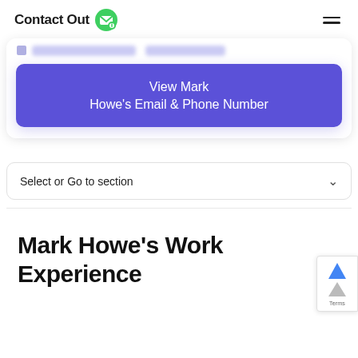ContactOut
View Mark Howe's Email & Phone Number
Select or Go to section
Mark Howe's Work Experience